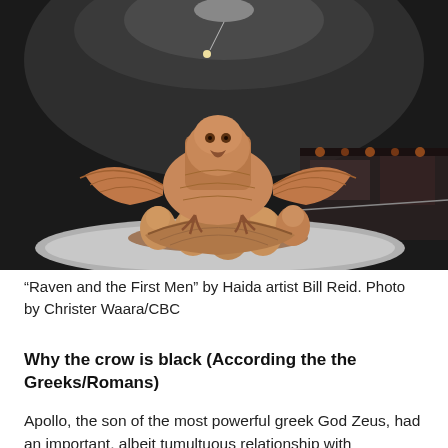[Figure (photo): A large wooden sculpture titled 'Raven and the First Men' by Haida artist Bill Reid, displayed in a museum rotunda. The sculpture shows a large raven with spread wings perched atop a clamshell from which small human figures emerge. The setting is a dimly lit circular room with recessed lighting and display cases in the background.]
“Raven and the First Men” by Haida artist Bill Reid. Photo by Christer Waara/CBC
Why the crow is black (According the the Greeks/Romans)
Apollo, the son of the most powerful greek God Zeus, had an important, albeit tumultuous relationship with